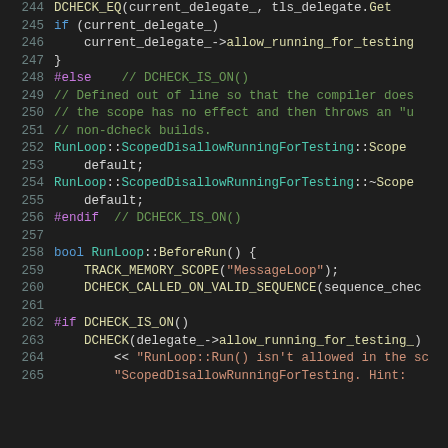[Figure (screenshot): Source code viewer showing C++ code lines 244-265 with syntax highlighting on dark background. Lines include preprocessor directives, class method definitions, and function calls.]